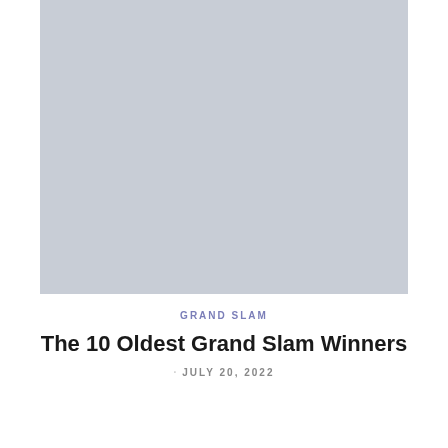[Figure (photo): Large placeholder image with a light blue-grey background, representing a hero image for the article about the 10 Oldest Grand Slam Winners]
GRAND SLAM
The 10 Oldest Grand Slam Winners
JULY 20, 2022